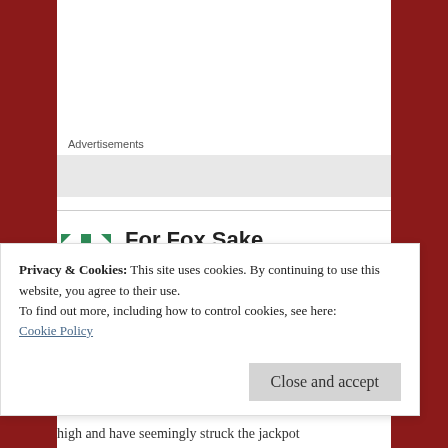Advertisements
For Fox Sake
October 26, 2016 at 12:02 pm
Came across this article on a link for JA606 and was hooked.
Privacy & Cookies: This site uses cookies. By continuing to use this website, you agree to their use.
To find out more, including how to control cookies, see here:
Cookie Policy
Close and accept
high and have seemingly struck the jackpot